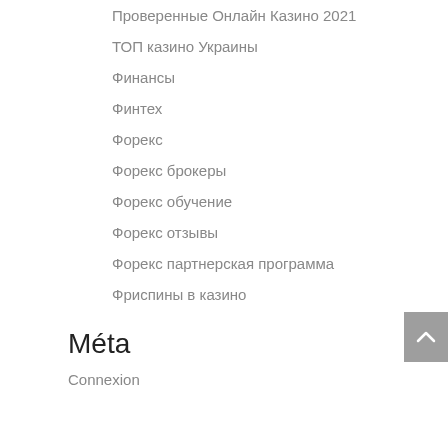Проверенные Онлайн Казино 2021
ТОП казино Украины
Финансы
Финтех
Форекс
Форекс брокеры
Форекс обучение
Форекс отзывы
Форекс партнерская программа
Фриспины в казино
Méta
Connexion